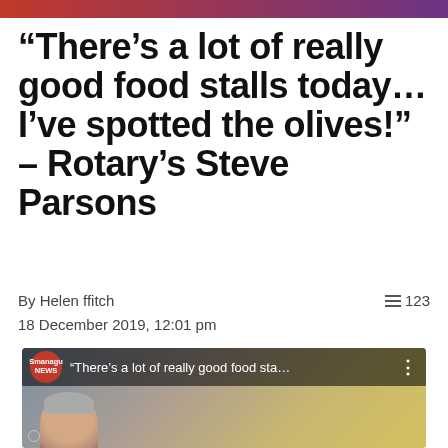“There’s a lot of really good food stalls today… I’ve spotted the olives!” – Rotary’s Steve Parsons
By Helen ffitch
≡ 123
18 December 2019, 12:01 pm
[Figure (screenshot): Video thumbnail showing a man in a grey beanie hat outdoors near a market stall with a yellow canopy, with a channel badge reading 'Smanagu NEWS' and the video title text 'There’s a lot of really good food sta...']